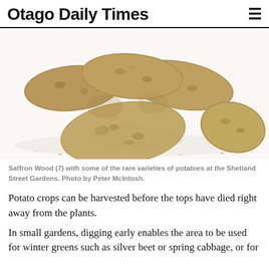Otago Daily Times
[Figure (photo): Five dirty potatoes of rare varieties arranged on a white background, photographed from above at an angle.]
Saffron Wood (7) with some of the rare varieties of potatoes at the Shetland Street Gardens. Photo by Peter McIntosh.
Potato crops can be harvested before the tops have died right away from the plants.
In small gardens, digging early enables the area to be used for winter greens such as silver beet or spring cabbage, or for